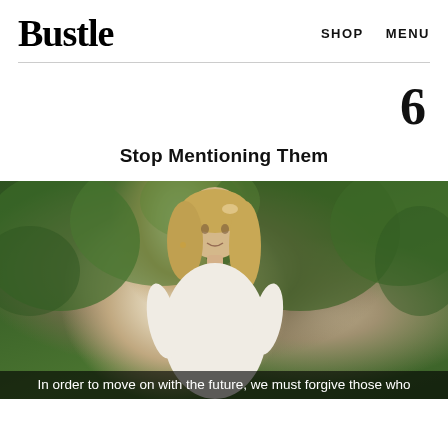Bustle   SHOP   MENU
6
Stop Mentioning Them
[Figure (photo): A blonde woman in a white lace dress standing outdoors with green trees in background. A subtitle reads: In order to move on with the future, we must forgive those who]
In order to move on with the future, we must forgive those who